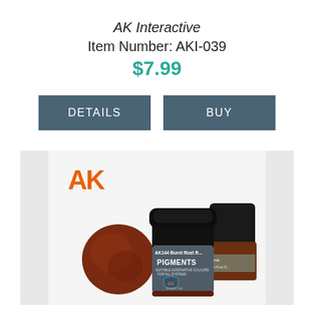AK Interactive
Item Number: AKI-039
$7.99
DETAILS
BUY
[Figure (photo): AK Interactive AK144 Burnt Rust Red Pigments product jars with rust-colored pigment powder sample shown in front on white background]